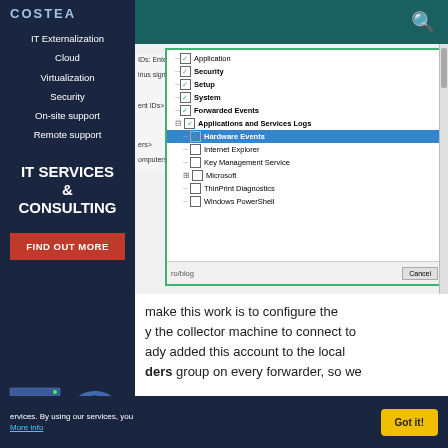[Figure (screenshot): Website screenshot showing a sidebar navigation with IT services menu and a Windows Event Viewer log selection dialog in the main content area]
make this work is to configure the y the collector machine to connect to ady added this account to the local ders group on every forwarder, so we
ervices. By using our services, you
More info
Got it!